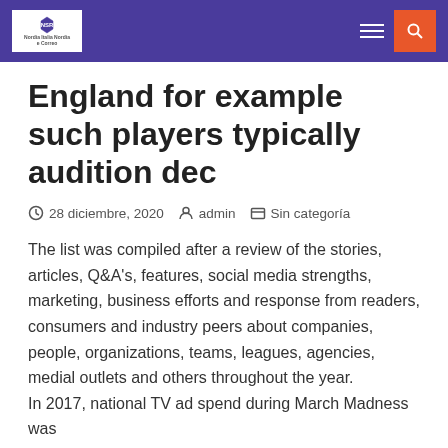NSR — 28 diciembre, 2020 | admin | Sin categoría
England for example such players typically audition dec
28 diciembre, 2020   admin   Sin categoría
The list was compiled after a review of the stories, articles, Q&A's, features, social media strengths, marketing, business efforts and response from readers, consumers and industry peers about companies, people, organizations, teams, leagues, agencies, medial outlets and others throughout the year.
In 2017, national TV ad spend during March Madness was